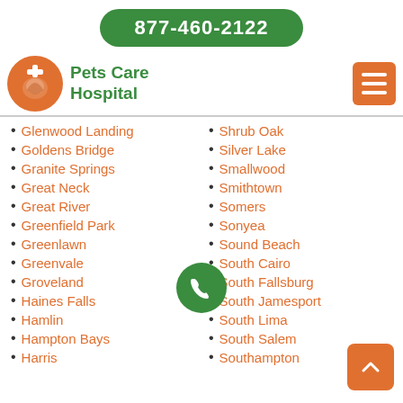877-460-2122
[Figure (logo): Pets Care Hospital logo with orange circle containing a pet silhouette and a cross, with green text 'Pets Care Hospital']
Glenwood Landing
Goldens Bridge
Granite Springs
Great Neck
Great River
Greenfield Park
Greenlawn
Greenvale
Groveland
Haines Falls
Hamlin
Hampton Bays
Harris
Shrub Oak
Silver Lake
Smallwood
Smithtown
Somers
Sonyea
Sound Beach
South Cairo
South Fallsburg
South Jamesport
South Lima
South Salem
Southampton